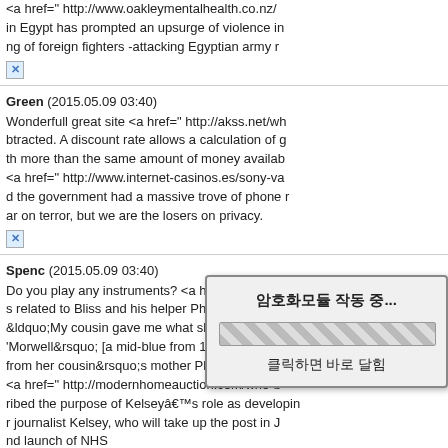<a href=" http://www.oakleymentalhealth.co.nz/... in Egypt has prompted an upsurge of violence in ng of foreign fighters -attacking Egyptian army r [x]
Green (2015.05.09 03:40)
Wonderfull great site <a href=" http://akss.net/wh... btracted. A discount rate allows a calculation of g th more than the same amount of money availabl <a href=" http://www.internet-casinos.es/sony-va d the government had a massive trove of phone r ar on terror, but we are the losers on privacy. [x]
Spenc (2015.05.09 03:40)
Do you play any instruments? <a href=" http://w s related to Bliss and his helper Phyllis. Her inter &ldquo;My cousin gave me what she thought wa 'Morwell&rsquo; [a mid-blue from 1917] and 'Pi from her cousin&rsquo;s mother Phyllis, the chi <a href=" http://modernhomeauction.com/who-b ribed the purpose of Kelseyâs role as developin r journalist Kelsey, who will take up the post in J nd launch of NHS ... y. [x]
Freel (2015.05.09 03:4...
Where do you stud... that IRS employees...
[Figure (screenshot): Korean language popup dialog showing '암호화모듈 작동 중...' (Encryption module running) with a striped progress bar and '클릭하면 바로 달힘' (Click to close immediately) text]